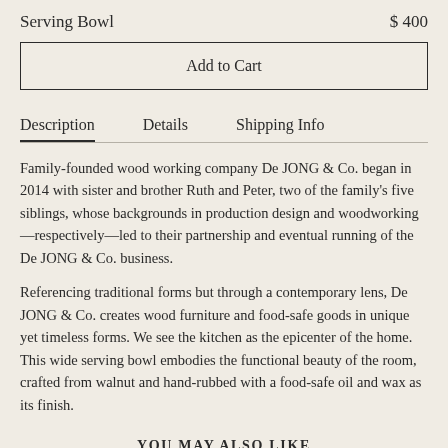Serving Bowl
$ 400
Add to Cart
Description
Details
Shipping Info
Family-founded wood working company De JONG & Co. began in 2014 with sister and brother Ruth and Peter, two of the family's five siblings, whose backgrounds in production design and woodworking—respectively—led to their partnership and eventual running of the De JONG & Co. business.
Referencing traditional forms but through a contemporary lens, De JONG & Co. creates wood furniture and food-safe goods in unique yet timeless forms. We see the kitchen as the epicenter of the home. This wide serving bowl embodies the functional beauty of the room, crafted from walnut and hand-rubbed with a food-safe oil and wax as its finish.
YOU MAY ALSO LIKE
[Figure (photo): Thumbnail image of a product, warm brown/tan color, left side]
[Figure (photo): Thumbnail image of a product, warm tan/golden color, right side]